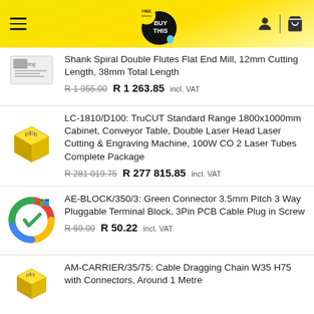[Figure (logo): BuyThis logo with FREE delivery tag on yellow header background]
Shank Spiral Double Flutes Flat End Mill, 12mm Cutting Length, 38mm Total Length — R 1 955.00 (strikethrough) R 1 263.85 incl. VAT
LC-1810/D100: TruCUT Standard Range 1800x1000mm Cabinet, Conveyor Table, Double Laser Head Laser Cutting & Engraving Machine, 100W CO 2 Laser Tubes Complete Package — R 281 019.75 (strikethrough) R 277 815.85 incl. VAT
AE-BLOCK/350/3: Green Connector 3.5mm Pitch 3 Way Pluggable Terminal Block, 3Pin PCB Cable Plug in Screw — R 69.00 (strikethrough) R 50.22 incl. VAT
AM-CARRIER/35/75: Cable Dragging Chain W35 H75 with Connectors, Around 1 Metre